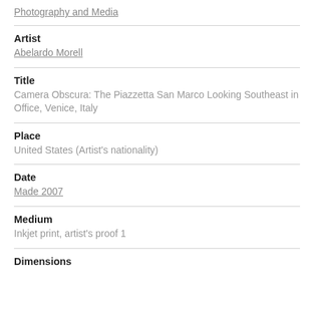Photography and Media
Artist
Abelardo Morell
Title
Camera Obscura: The Piazzetta San Marco Looking Southeast in Office, Venice, Italy
Place
United States (Artist's nationality)
Date
Made 2007
Medium
Inkjet print, artist's proof 1
Dimensions